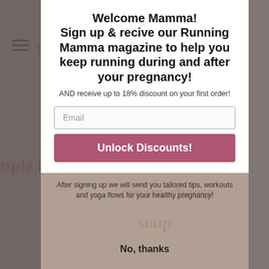Welcome Mamma! Sign up & recive our Running Mamma magazine to help you keep running during and after your pregnancy!
AND receive up to 18% discount on your first order!
Email
Unlock Discounts!
After signing up we will send you tailored tips, workouts and yoga flows for your healthy pregnancy!
No, thanks